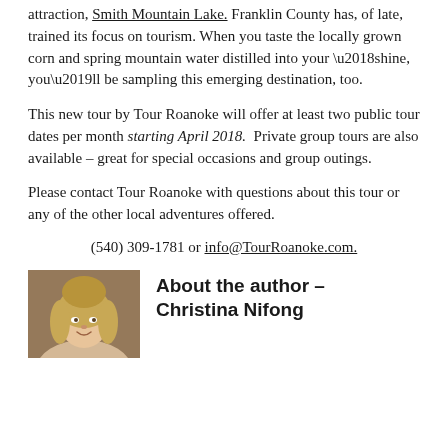attraction, Smith Mountain Lake. Franklin County has, of late, trained its focus on tourism. When you taste the locally grown corn and spring mountain water distilled into your ‘shine, you’ll be sampling this emerging destination, too.
This new tour by Tour Roanoke will offer at least two public tour dates per month starting April 2018. Private group tours are also available – great for special occasions and group outings.
Please contact Tour Roanoke with questions about this tour or any of the other local adventures offered.
(540) 309-1781 or info@TourRoanoke.com.
[Figure (photo): Headshot photo of author Christina Nifong, a woman with blonde hair]
About the author – Christina Nifong